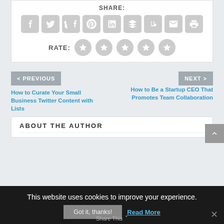SHARE:
[Figure (infographic): Row of 9 social share icon buttons (Facebook, Twitter, Tumblr, Pinterest, LinkedIn, Buffer, StumbleUpon, Email, Print) as rounded gray squares with white icons]
RATE:
[Figure (infographic): 5 star rating circles in gray]
< PREVIOUS
NEXT >
How to Curate Your Small Business Twitter Content with Lists
How to Be a Startup CEO That Promotes Team Collaboration
ABOUT THE AUTHOR
This website uses cookies to improve your experience.
Got it, thanks!
Read More
Share This